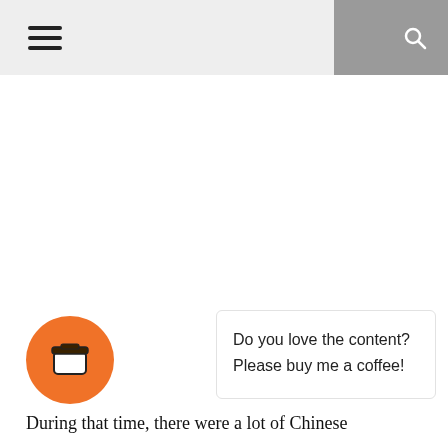☰ [hamburger menu] | [moon icon] [search icon]
[Figure (illustration): Orange circular coffee cup icon (buy me a coffee button)]
Do you love the content? Please buy me a coffee!
During that time, there were a lot of Chinese